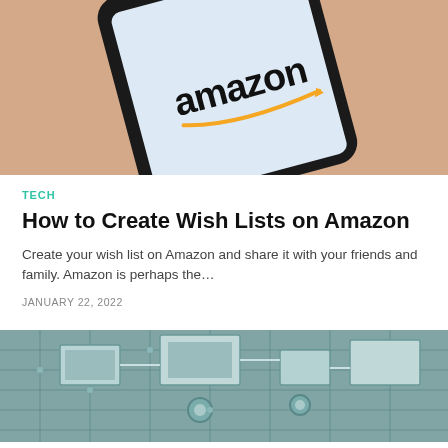[Figure (photo): Smartphone displaying the Amazon logo on a peach/beige background, photographed at an angle from above.]
TECH
How to Create Wish Lists on Amazon
Create your wish list on Amazon and share it with your friends and family. Amazon is perhaps the…
JANUARY 22, 2022
[Figure (photo): Close-up of a circuit board or computer chip with teal/green metallic components and wiring.]